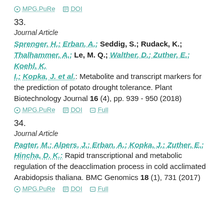MPG.PuRe   DOI
33.
Journal Article
Sprenger, H.; Erban, A.; Seddig, S.; Rudack, K.; Thalhammer, A.; Le, M. Q.; Walther, D.; Zuther, E.; Koehl, K. I.; Kopka, J. et al.: Metabolite and transcript markers for the prediction of potato drought tolerance. Plant Biotechnology Journal 16 (4), pp. 939 - 950 (2018)
MPG.PuRe   DOI   Full
34.
Journal Article
Pagter, M.; Alpers, J.; Erban, A.; Kopka, J.; Zuther, E.; Hincha, D. K.: Rapid transcriptional and metabolic regulation of the deacclimation process in cold acclimated Arabidopsis thaliana. BMC Genomics 18 (1), 731 (2017)
MPG.PuRe   DOI   Full